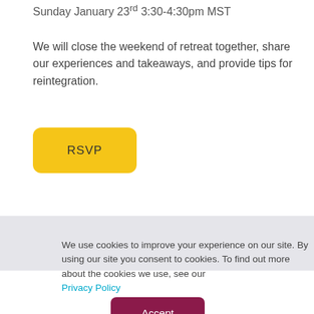Sunday January 23rd 3:30-4:30pm MST
We will close the weekend of retreat together, share our experiences and takeaways, and provide tips for reintegration.
[Figure (other): Yellow RSVP button with rounded corners]
We use cookies to improve your experience on our site. By using our site you consent to cookies. To find out more about the cookies we use, see our Privacy Policy
[Figure (other): Dark pink/maroon Accept button with rounded corners]